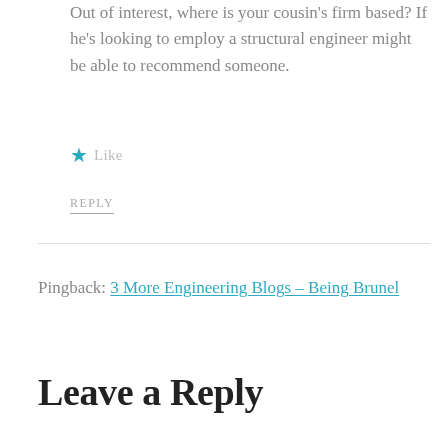Out of interest, where is your cousin's firm based? If he's looking to employ a structural engineer might be able to recommend someone.
★ Like
REPLY
Pingback: 3 More Engineering Blogs – Being Brunel
Leave a Reply